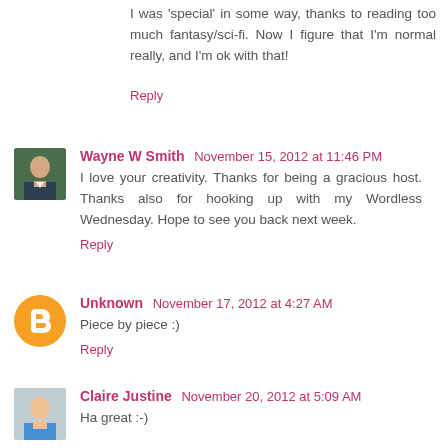I was 'special' in some way, thanks to reading too much fantasy/sci-fi. Now I figure that I'm normal really, and I'm ok with that!
Reply
Wayne W Smith  November 15, 2012 at 11:46 PM
I love your creativity. Thanks for being a gracious host. Thanks also for hooking up with my Wordless Wednesday. Hope to see you back next week.
Reply
Unknown  November 17, 2012 at 4:27 AM
Piece by piece :)
Reply
Claire Justine  November 20, 2012 at 5:09 AM
Ha great :-)